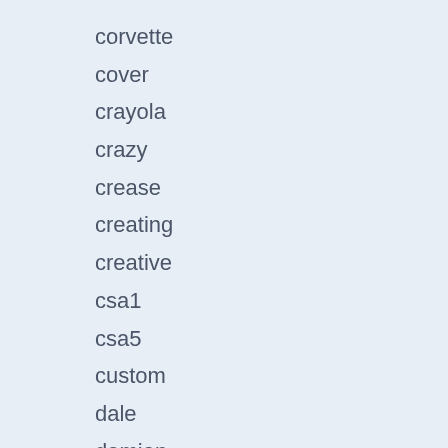corvette
cover
crayola
crazy
crease
creating
creative
csa1
csa5
custom
dale
damian
danish
dark
deaf
dealers